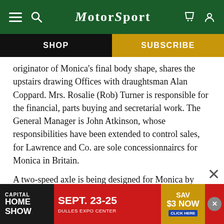MotorSport
SHOP
SUBSCRIBE
originator of Monica’s final body shape, shares the upstairs drawing Offices with draughtsman Alan Coppard. Mrs. Rosalie (Rob) Turner is responsible for the financial, parts buying and secretarial work. The General Manager is John Atkinson, whose responsibilities have been extended to control sales, for Lawrence and Co. are sole concessionnaircs for Monica in Britain.
A two-speed axle is being designed for Monica by Lawrence and Peterson, a particularly desirable feature of which we have room to r— wi—